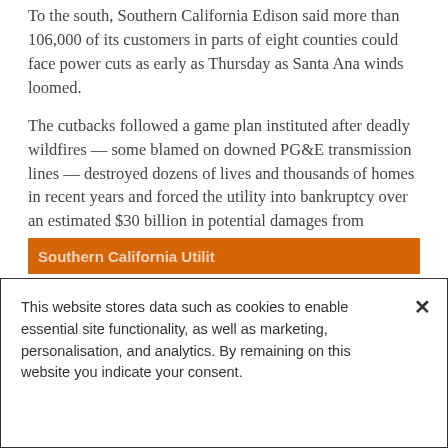To the south, Southern California Edison said more than 106,000 of its customers in parts of eight counties could face power cuts as early as Thursday as Santa Ana winds loomed.
The cutbacks followed a game plan instituted after deadly wildfires — some blamed on downed PG&E transmission lines — destroyed dozens of lives and thousands of homes in recent years and forced the utility into bankruptcy over an estimated $30 billion in potential damages from lawsuits.
[Figure (other): Partially visible orange banner/button at bottom of article content, with white text reading 'Southern California Utility' (partially obscured)]
This website stores data such as cookies to enable essential site functionality, as well as marketing, personalisation, and analytics. By remaining on this website you indicate your consent.